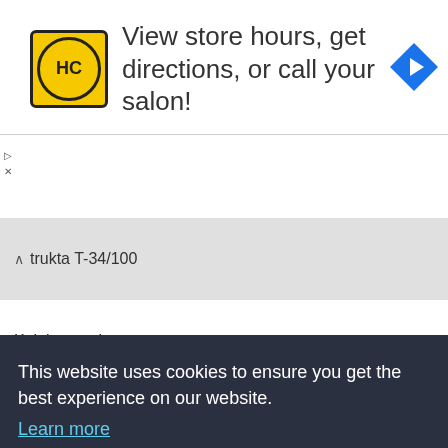[Figure (screenshot): Advertisement banner: HC logo (yellow circle with HC letters), text 'View store hours, get directions, or call your salon!', blue navigation arrow icon on right, small skip/close icons on left]
| Vehicle | Battles | Win Rate | XP |
| --- | --- | --- | --- |
| trukta T-34/100 | 64 | 48.44% | 2485 |
| Kolohousenka | 2 | 50% | 238 |
| Jagdtiger | 91 | 62.64% | 3225 |
| Jagdpanzer IV | 139 | 45.32% | 837 |
| (partial) |  |  | 22 |
| (partial) |  |  | 5 |
| (partial) |  |  | 71 |
| (partial) |  |  | 40 |
| (partial) |  |  | 52 |
| (partial) |  |  | 33 |
| IS-3 | 921 | 56.13% | 2012 |
This website uses cookies to ensure you get the best experience on our website.
Learn more
Got it!